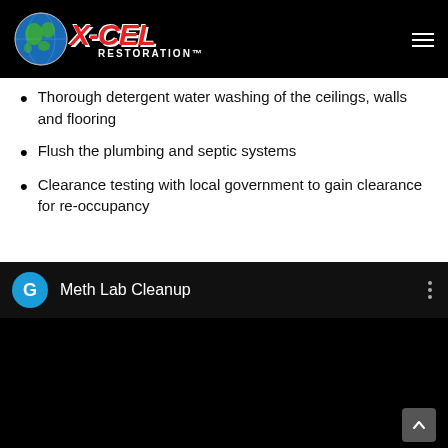X-CEL RESTORATION
Thorough detergent water washing of the ceilings, walls and flooring
Flush the plumbing and septic systems
Clearance testing with local government to gain clearance for re-occupancy
[Figure (screenshot): Embedded YouTube-style video player with dark background showing 'Meth Lab Cleanup' title, a blue circle avatar with letter G, and a three-dot menu icon]